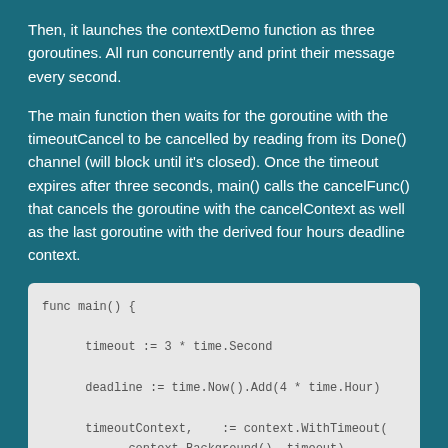Then, it launches the contextDemo function as three goroutines. All run concurrently and print their message every second.
The main function then waits for the goroutine with the timeoutCancel to be cancelled by reading from its Done() channel (will block until it's closed). Once the timeout expires after three seconds, main() calls the cancelFunc() that cancels the goroutine with the cancelContext as well as the last goroutine with the derived four hours deadline context.
[Figure (screenshot): Code block showing Go code for func main() including timeout, deadline, timeoutContext, cancelContext, and cancelFunc assignments using context package functions.]